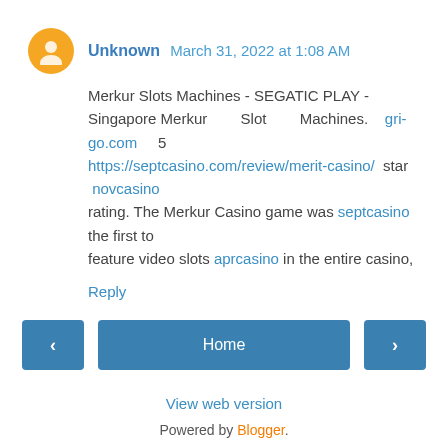Unknown March 31, 2022 at 1:08 AM
Merkur Slots Machines - SEGATIC PLAY - Singapore Merkur Slot Machines. gri-go.com 5 https://septcasino.com/review/merit-casino/ star novcasino rating. The Merkur Casino game was septcasino the first to feature video slots aprcasino in the entire casino,
Reply
Home
View web version
Powered by Blogger.